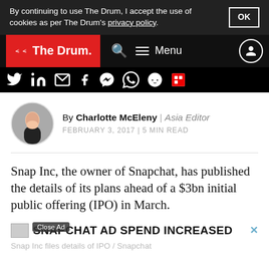By continuing to use The Drum, I accept the use of cookies as per The Drum's privacy policy.
[Figure (screenshot): The Drum navigation bar with logo, search, menu icons]
[Figure (screenshot): Social media sharing icons: Twitter, LinkedIn, email, Facebook, Messenger, WhatsApp, Reddit, Flipboard]
By Charlotte McEleny | Asia Editor
FEBRUARY 3, 2017 | 5 MIN READ
Snap Inc, the owner of Snapchat, has published the details of its plans ahead of a $3bn initial public offering (IPO) in March.
[Figure (screenshot): Ad with Close Ad button - SNAPCHAT AD SPEND INCREASED]
Snap Inc files details of IPO / Snapchat